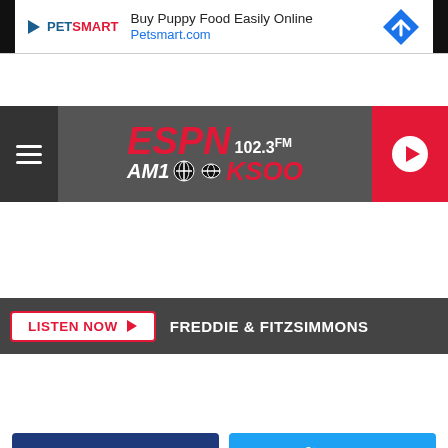[Figure (screenshot): PetSmart advertisement banner with logo, text 'Buy Puppy Food Easily Online' and 'Petsmart.com', and a blue navigation icon]
[Figure (logo): ESPN 102.3 FM AM1000 KSOO radio station logo in red and white on grey background, with hamburger menu icon and red play button]
LISTEN NOW  FREDDIE & FITZSIMMONS
Share
Tweet